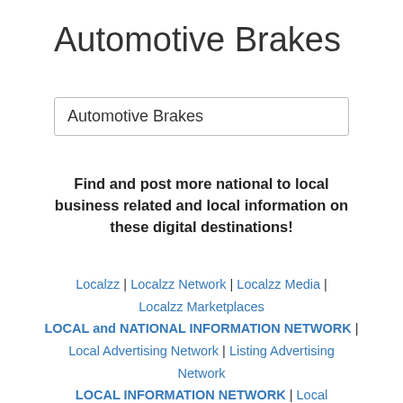Automotive Brakes
Automotive Brakes
Find and post more national to local business related and local information on these digital destinations!
Localzz | Localzz Network | Localzz Media | Localzz Marketplaces LOCAL and NATIONAL INFORMATION NETWORK | Local Advertising Network | Listing Advertising Network LOCAL INFORMATION NETWORK | Local Information Marketplaces | National Information Network | National Information Marketplaces